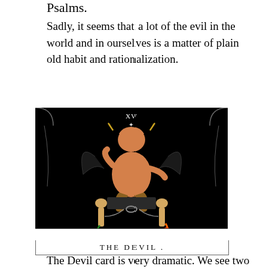Psalms.
Sadly, it seems that a lot of the evil in the world and in ourselves is a matter of plain old habit and rationalization.
[Figure (illustration): The Devil tarot card (XV) showing a horned devil figure seated on a throne with two smaller nude human figures chained below, on a black background. At the bottom the card reads 'THE DEVIL .']
The Devil card is very dramatic.  We see two